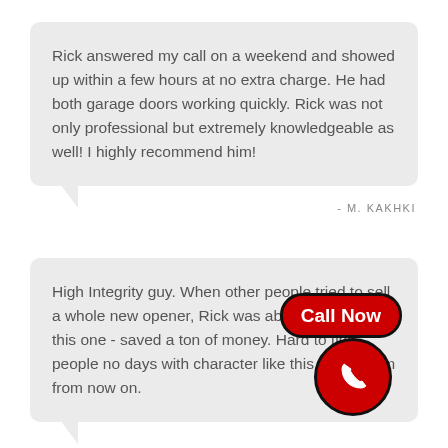Rick answered my call on a weekend and showed up within a few hours at no extra charge. He had both garage doors working quickly. Rick was not only professional but extremely knowledgeable as well! I highly recommend him!
- M. KAKHKI
High Integrity guy. When other people tried to sell a whole new opener, Rick was able to easily fix this one - saved a ton of money. Hard to find people no days with character like this. I'll use him from now on.
[Figure (other): Red 'Call Now' button with phone icon circle]